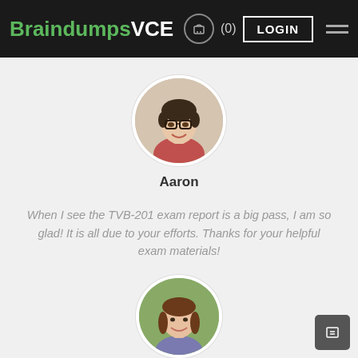BraindumpsVCE (0) LOGIN
[Figure (photo): Circular profile photo of a young man with glasses and dark hair wearing a red shirt, smiling]
Aaron
When I see the TVB-201 exam report is a big pass, I am so glad! It is all due to your efforts. Thanks for your helpful exam materials!
[Figure (photo): Circular profile photo of a young woman with brown hair, smiling, with green background]